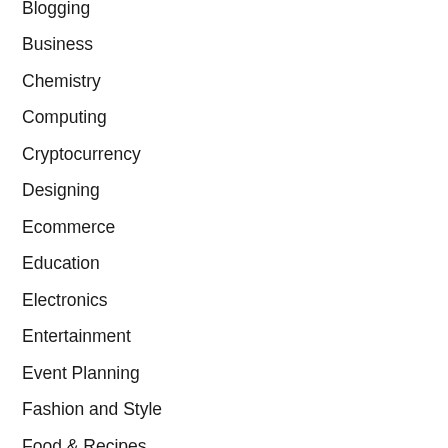Blogging
Business
Chemistry
Computing
Cryptocurrency
Designing
Ecommerce
Education
Electronics
Entertainment
Event Planning
Fashion and Style
Food & Recipes
Gadgets